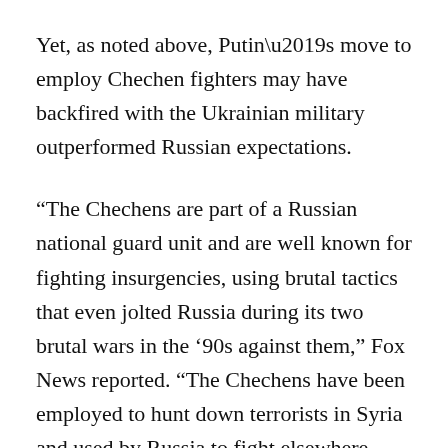Yet, as noted above, Putin’s move to employ Chechen fighters may have backfired with the Ukrainian military outperformed Russian expectations.
“The Chechens are part of a Russian national guard unit and are well known for fighting insurgencies, using brutal tactics that even jolted Russia during its two brutal wars in the ’90s against them,” Fox News reported. “The Chechens have been employed to hunt down terrorists in Syria and used by Russia to fight elsewhere, including in Georgia. They also fought the Ukrainians in Donbas when hostilities began there in 2014.”